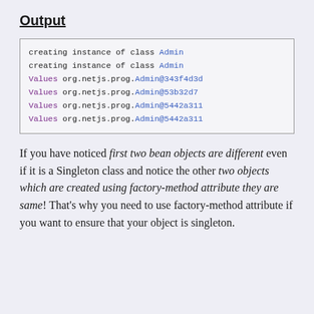Output
[Figure (screenshot): Code output block showing console lines: 'creating instance of class Admin' (twice in black), then four 'Values org.netjs.prog.Admin@...' lines in purple/blue monospace font]
If you have noticed first two bean objects are different even if it is a Singleton class and notice the other two objects which are created using factory-method attribute they are same! That's why you need to use factory-method attribute if you want to ensure that your object is singleton.